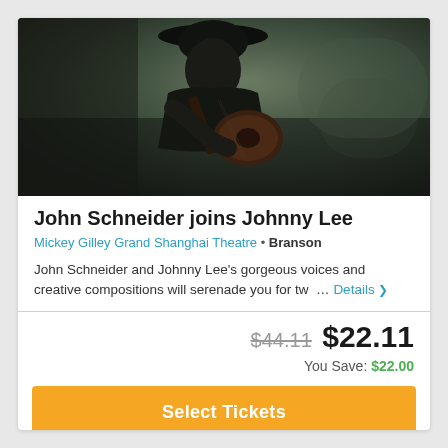[Figure (photo): Man in dark hat and dark shirt playing acoustic guitar, photographed against a dark moody background]
John Schneider joins Johnny Lee
Mickey Gilley Grand Shanghai Theatre • Branson
John Schneider and Johnny Lee's gorgeous voices and creative compositions will serenade you for tw  … Details
$44.11  $22.11
You Save: $22.00
Select Tickets